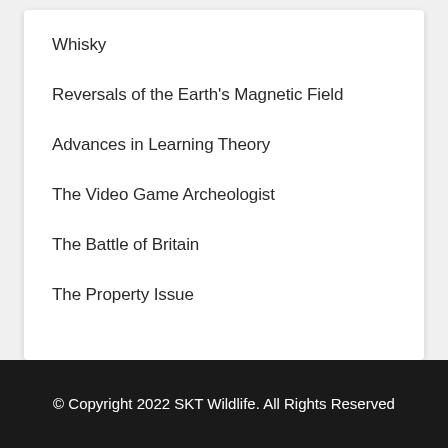Whisky
Reversals of the Earth's Magnetic Field
Advances in Learning Theory
The Video Game Archeologist
The Battle of Britain
The Property Issue
© Copyright 2022 SKT Wildlife. All Rights Reserved